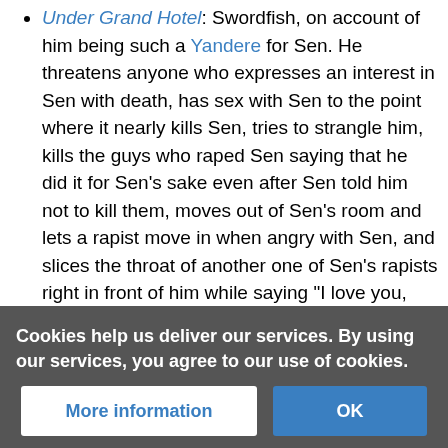Under Grand Hotel: Swordfish, on account of him being such a Yandere for Sen. He threatens anyone who expresses an interest in Sen with death, has sex with Sen to the point where it nearly kills Sen, tries to strangle him, kills the guys who raped Sen saying that he did it for Sen's sake even after Sen told him not to kill them, moves out of Sen's room and lets a rapist move in when angry with Sen, and slices the throat of another one of Sen's rapists right in front of him while saying "I love you, Sen." This being after he tried to get Sen to kill the guy himself but Sen refused.
Sakurako and sometimes Katsuragi from Sakura Gari.
Many a villain from Berserk such as Femto ( or Griffith),
Cookies help us deliver our services. By using our services, you agree to our use of cookies.